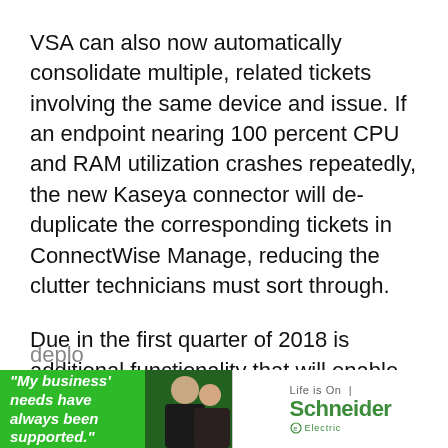VSA can also now automatically consolidate multiple, related tickets involving the same device and issue. If an endpoint nearing 100 percent CPU and RAM utilization crashes repeatedly, the new Kaseya connector will de-duplicate the corresponding tickets in ConnectWise Manage, reducing the clutter technicians must sort through.
Due in the first quarter of 2018 is additional functionality that will enable technicians to remote into endpoints from within ConnectWise Manage tickets with a single click, and new integration support for the cloud-based version of VSA. At present, Kaseya's ConnectWise PSA connector supports only on-premises VSA deplo
[Figure (photo): Advertisement banner for Schneider Electric with green background on left side showing text 'My business' needs have always been supported.' with a person, and white right side with 'Life is On | Schneider Electric' logo]